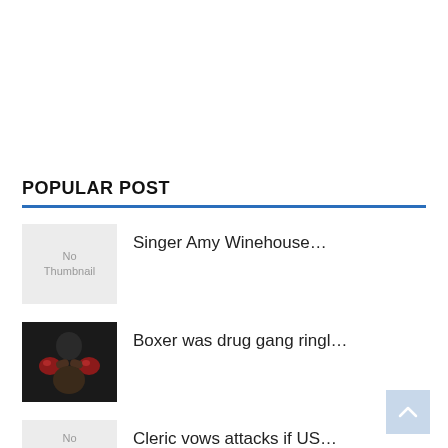POPULAR POST
Singer Amy Winehouse...
Boxer was drug gang ringl...
Cleric vows attacks if US...